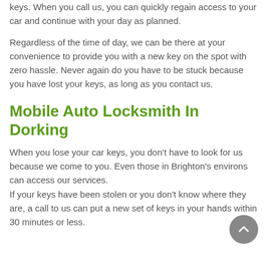keys. When you call us, you can quickly regain access to your car and continue with your day as planned.
Regardless of the time of day, we can be there at your convenience to provide you with a new key on the spot with zero hassle. Never again do you have to be stuck because you have lost your keys, as long as you contact us.
Mobile Auto Locksmith In Dorking
When you lose your car keys, you don’t have to look for us because we come to you. Even those in Brighton’s environs can access our services. If your keys have been stolen or you don’t know where they are, a call to us can put a new set of keys in your hands within 30 minutes or less.